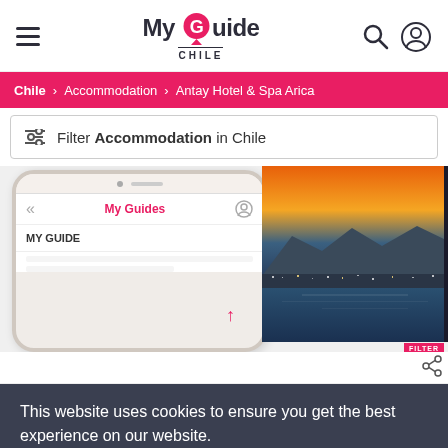My Guide Chile
Chile > Accommodation > Antay Hotel & Spa Arica
Filter Accommodation in Chile
[Figure (screenshot): Phone mockup showing My Guides app screen with 'MY GUIDE' label, and a photo of a coastal city at sunset on the right side]
This website uses cookies to ensure you get the best experience on our website. Learn more
Got it!